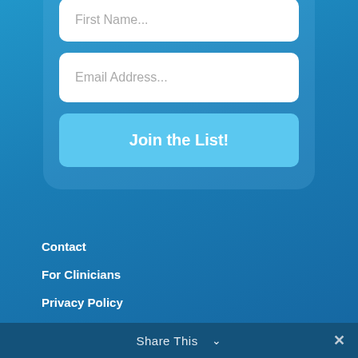First Name...
Email Address...
Join the List!
Contact
For Clinicians
Privacy Policy
Disclaimer
Terms of Use
Share This ∨  ✕